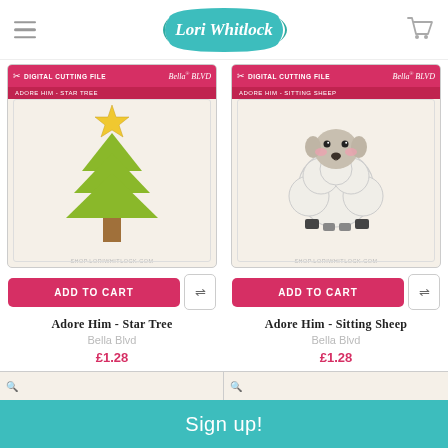Lori Whitlock - shop header with logo and cart
[Figure (illustration): Product card: digital cutting file package showing a Christmas tree with yellow star on top (green triangular tree with brown trunk) on beige card background, labeled 'Adore Him - Star Tree', Bella Blvd brand]
[Figure (illustration): Product card: digital cutting file package showing a cute sitting sheep (white fluffy body, gray face, pink cheeks, black hooves) on beige card background, labeled 'Adore Him - Sitting Sheep', Bella Blvd brand]
ADD TO CART
ADD TO CART
Adore Him - Star Tree
Bella Blvd
£1.28
Adore Him - Sitting Sheep
Bella Blvd
£1.28
Sign up!